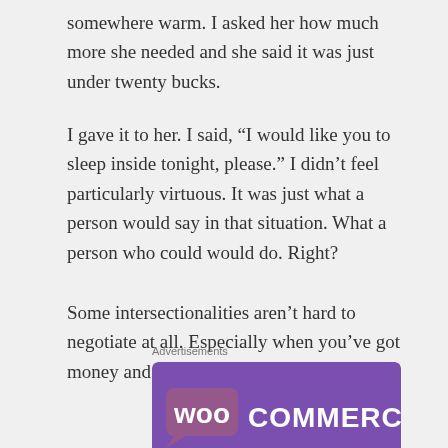somewhere warm. I asked her how much more she needed and she said it was just under twenty bucks.
I gave it to her. I said, “I would like you to sleep inside tonight, please.” I didn’t feel particularly virtuous. It was just what a person would say in that situation. What a person who could would do. Right?
Some intersectionalities aren’t hard to negotiate at all. Especially when you’ve got money and privilege to spare. Which I do.
Advertisements
[Figure (logo): WooCommerce advertisement banner with purple background, WooCommerce logo in white text, teal/green triangle in bottom left corner and blue triangle in bottom right corner]